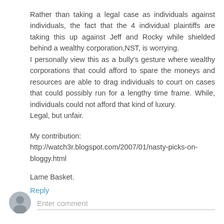Rather than taking a legal case as individuals against individuals, the fact that the 4 individual plaintiffs are taking this up against Jeff and Rocky while shielded behind a wealthy corporation,NST, is worrying.
I personally view this as a bully's gesture where wealthy corporations that could afford to spare the moneys and resources are able to drag individuals to court on cases that could possibly run for a lengthy time frame. While, individuals could not afford that kind of luxury.
Legal, but unfair.
My contribution:
http://watch3r.blogspot.com/2007/01/nasty-picks-on-bloggy.html
Lame Basket.
Reply
Enter comment